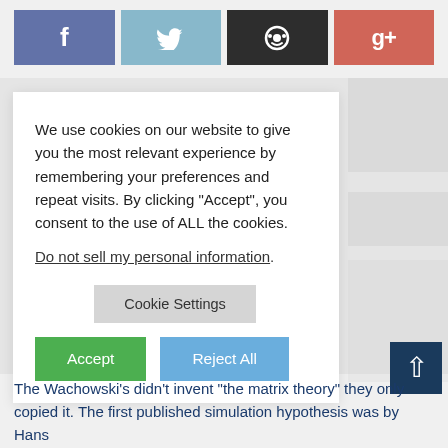[Figure (infographic): Social sharing buttons: Facebook (blue), Twitter (light blue), Reddit (dark/black), Google+ (red-salmon)]
We use cookies on our website to give you the most relevant experience by remembering your preferences and repeat visits. By clicking “Accept”, you consent to the use of ALL the cookies.
Do not sell my personal information.
Cookie Settings
Accept
Reject All
The Wachowski’s didn’t invent “the matrix theory” they only copied it. The first published simulation hypothesis was by Hans